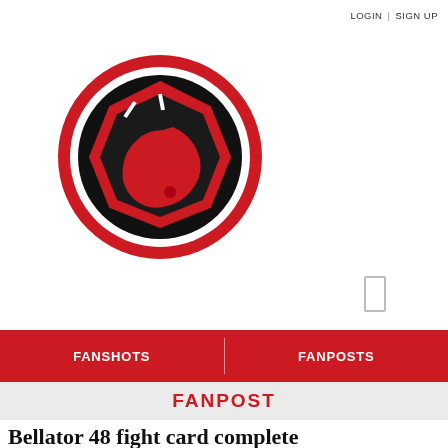LOGIN | SIGN UP
[Figure (logo): Bloody Elbow MMA website logo — red circle with black octagon shape and red drop, white outline ring]
FANSHOTS | FANPOSTS
FANPOST
Bellator 48 fight card complete
f SHARE